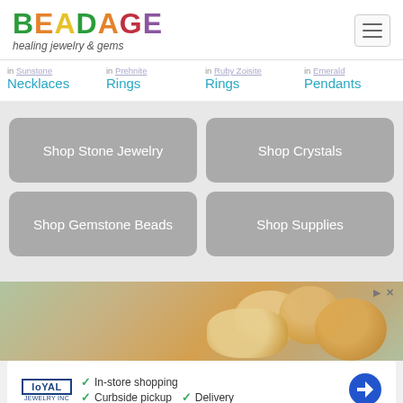[Figure (logo): BEADAGE logo with colorful letters and tagline 'healing jewelry & gems']
in Sunstone Necklaces
in Prehnite Rings
in Ruby Zoisite Rings
in Emerald Pendants
Shop Stone Jewelry
Shop Crystals
Shop Gemstone Beads
Shop Supplies
[Figure (photo): Advertisement banner showing baked goods/bread rolls with a food delivery service ad. Loyal logo with checkmarks: In-store shopping, Curbside pickup, Delivery]